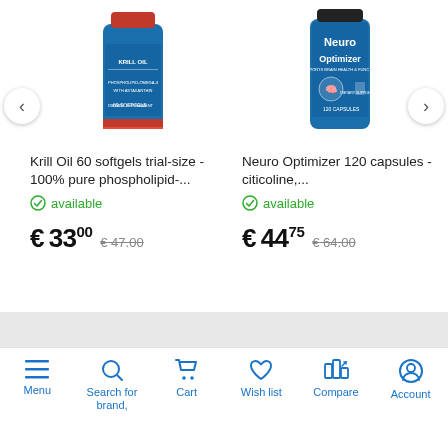[Figure (photo): Krill Oil 60 softgels supplement bottle with blue and red label]
Krill Oil 60 softgels trial-size - 100% pure phospholipid-...
available
€33.00  €47.00
[Figure (photo): Neuro Optimizer 120 capsules supplement bottle with blue label showing brain graphic]
Neuro Optimizer 120 capsules - citicoline,...
available
€44.75  €64.00
Menu  Search for brand,  Cart  Wish list  Compare  Account